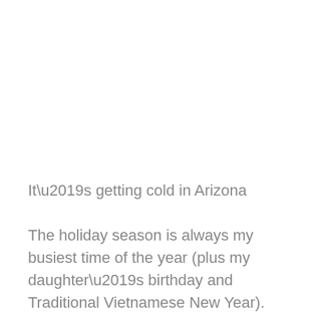It’s getting cold in Arizona
The holiday season is always my busiest time of the year (plus my daughter’s birthday and Traditional Vietnamese New Year). Even though it’s busy and can be a little overwhelming, it’s a joyful season after all, especially with the family holiday